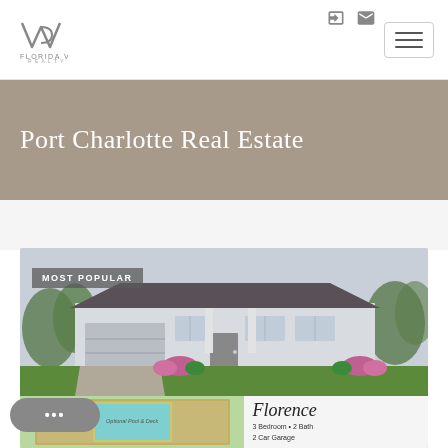Florida VIP Realty
Port Charlotte Real Estate
[Figure (photo): Exterior rendering of a modern single-story house with white/gray stucco, dark roof, two car garage, landscaped front yard with flowers and green lawn. Badge reads MOST POPULAR in the upper left.]
[Figure (illustration): Floor plan thumbnail showing Optional Pool & Deck area (blue pool box on green background) alongside Florence model details: 3 Bedroom + 2 Bath, 2 Car Garage in script font.]